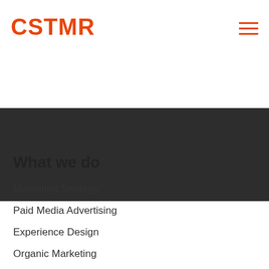CSTMR
[Figure (illustration): Dark header/hero bar with teal accent stripe at top]
What we do
Marketing Strategy
Paid Media Advertising
Experience Design
Organic Marketing
Who we help
Banking
Lending
Insurance (partially visible)